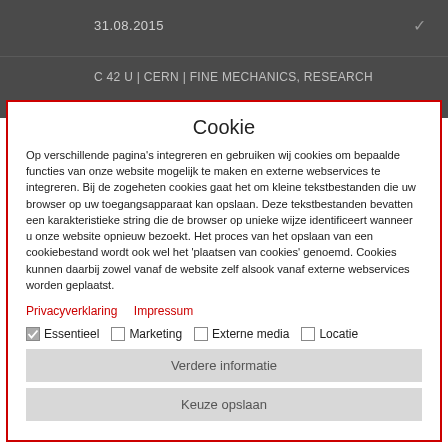31.08.2015
C 42 U | CERN | FINE MECHANICS, RESEARCH
Cookie
Op verschillende pagina's integreren en gebruiken wij cookies om bepaalde functies van onze website mogelijk te maken en externe webservices te integreren. Bij de zogeheten cookies gaat het om kleine tekstbestanden die uw browser op uw toegangsapparaat kan opslaan. Deze tekstbestanden bevatten een karakteristieke string die de browser op unieke wijze identificeert wanneer u onze website opnieuw bezoekt. Het proces van het opslaan van een cookiebestand wordt ook wel het 'plaatsen van cookies' genoemd. Cookies kunnen daarbij zowel vanaf de website zelf alsook vanaf externe webservices worden geplaatst.
Privacyverklaring   Impressum
Essentieel   Marketing   Externe media   Locatie
Verdere informatie
Keuze opslaan